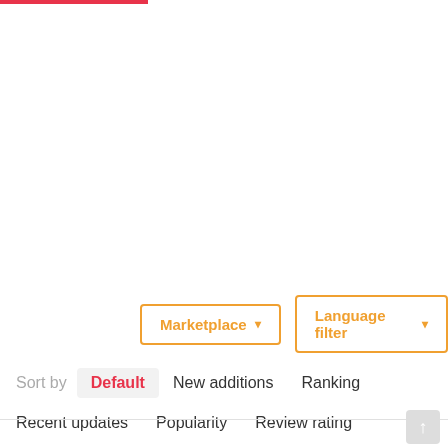Marketplace ▾   Language filter ▾
Sort by   Default   New additions   Ranking
Recent updates   Popularity   Review rating